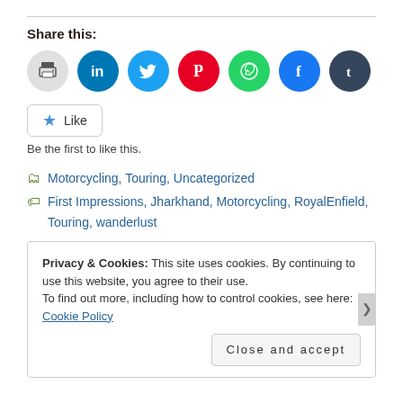Share this:
[Figure (infographic): Social share icons: print, LinkedIn, Twitter, Pinterest, WhatsApp, Facebook, Tumblr]
[Figure (infographic): Like button with star icon]
Be the first to like this.
Motorcycling, Touring, Uncategorized
First Impressions, Jharkhand, Motorcycling, RoyalEnfield, Touring, wanderlust
Privacy & Cookies: This site uses cookies. By continuing to use this website, you agree to their use. To find out more, including how to control cookies, see here: Cookie Policy
Close and accept